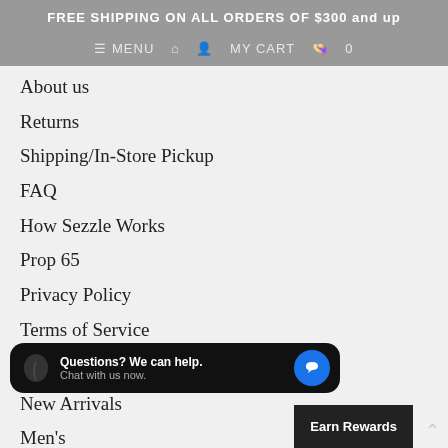FREE SHIPPING ON ALL ORDERS OF $300 and up
≡ MENU  🏠  👤  MY CART  🛍  0
About us
Returns
Shipping/In-Store Pickup
FAQ
How Sezzle Works
Prop 65
Privacy Policy
Terms of Service
EXPLORE
New Arrivals
Men's
Accessories
Questions? We can help. Chat with us now.
Earn Rewards